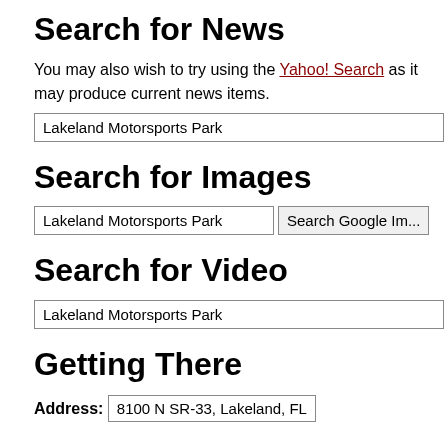Search for News
You may also wish to try using the Yahoo! Search as it may produce current news items.
Lakeland Motorsports Park [input field]
Search for Images
Lakeland Motorsports Park [input field]  Search Google Im... [button]
Search for Video
Lakeland Motorsports Park [input field]
Getting There
Address: 8100 N SR-33, Lakeland, FL